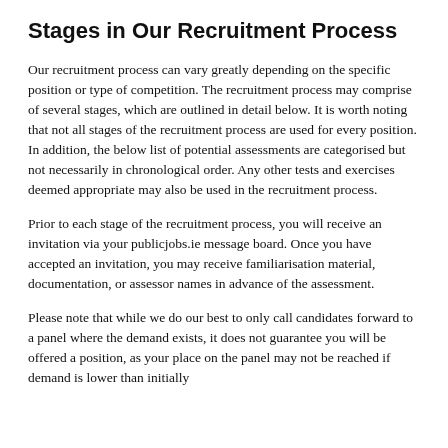Stages in Our Recruitment Process
Our recruitment process can vary greatly depending on the specific position or type of competition. The recruitment process may comprise of several stages, which are outlined in detail below. It is worth noting that not all stages of the recruitment process are used for every position. In addition, the below list of potential assessments are categorised but not necessarily in chronological order. Any other tests and exercises deemed appropriate may also be used in the recruitment process.
Prior to each stage of the recruitment process, you will receive an invitation via your publicjobs.ie message board. Once you have accepted an invitation, you may receive familiarisation material, documentation, or assessor names in advance of the assessment.
Please note that while we do our best to only call candidates forward to a panel where the demand exists, it does not guarantee you will be offered a position, as your place on the panel may not be reached if demand is lower than initially